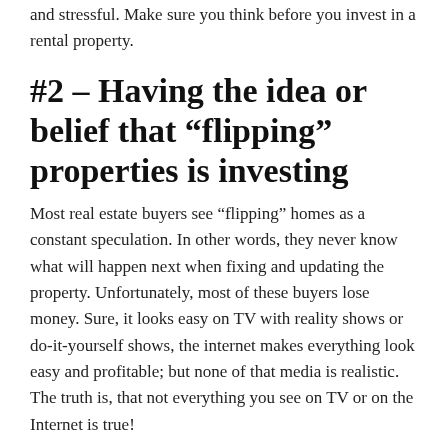and stressful. Make sure you think before you invest in a rental property.
#2 – Having the idea or belief that “flipping” properties is investing
Most real estate buyers see “flipping” homes as a constant speculation. In other words, they never know what will happen next when fixing and updating the property. Unfortunately, most of these buyers lose money. Sure, it looks easy on TV with reality shows or do-it-yourself shows, the internet makes everything look easy and profitable; but none of that media is realistic. The truth is, that not everything you see on TV or on the Internet is true!
#3 – Having the belief that real estate investing is low risk